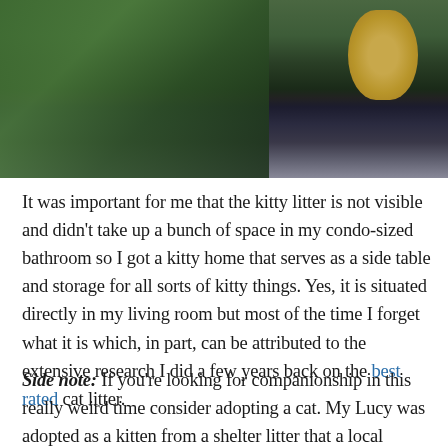[Figure (photo): Person in dark clothing holding a grey cat, surrounded by green houseplants. A gold/bronze pot with a plant is visible on the right side on a white surface.]
It was important for me that the kitty litter is not visible and didn't take up a bunch of space in my condo-sized bathroom so I got a kitty home that serves as a side table and storage for all sorts of kitty things. Yes, it is situated directly in my living room but most of the time I forget what it is which, in part, can be attributed to the extensive research I did a few years back on the best rated cat litter.
Side note: If you're looking for companionship in this really weird time consider adopting a cat. My Lucy was adopted as a kitten from a shelter litter that a local veterinarian took in